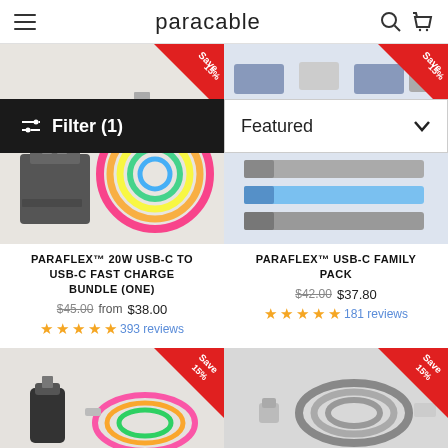paracable
[Figure (screenshot): Filter (1) button overlay (black) and Featured sort dropdown on product listing page]
[Figure (photo): PARAFLEX 20W USB-C to USB-C Fast Charge Bundle product image with rainbow braided cable and charger]
[Figure (photo): PARAFLEX USB-C Family Pack product image with blue and grey flat cables]
PARAFLEX™ 20W USB-C TO USB-C FAST CHARGE BUNDLE (ONE)
$45.00 from $38.00
393 reviews
PARAFLEX™ USB-C FAMILY PACK
$42.00 $37.80
181 reviews
[Figure (photo): Bottom left partial product image with rainbow cable and car charger, Save 15% badge]
[Figure (photo): Bottom right partial product image with grey braided cable, Save 15% badge]